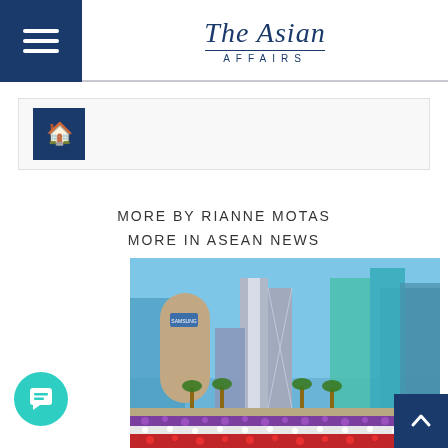The Asian Affairs
[Figure (illustration): Home icon breadcrumb navigation bar]
MORE BY RIANNE MOTAS
MORE IN ASEAN NEWS
[Figure (photo): City skyline photo with tall modern skyscrapers, palm trees, and colorful flower beds in the foreground. Blue sky background.]